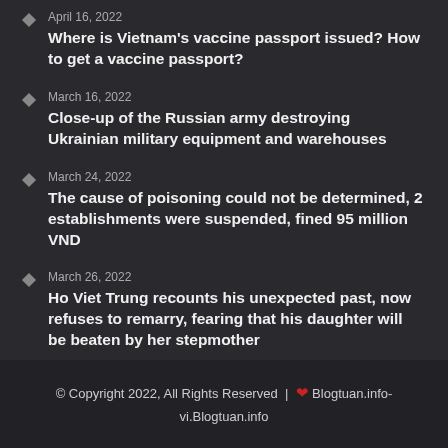April 16, 2022
Where is Vietnam's vaccine passport issued? How to get a vaccine passport?
March 16, 2022
Close-up of the Russian army destroying Ukrainian military equipment and warehouses
March 24, 2022
The cause of poisoning could not be determined, 2 establishments were suspended, fined 95 million VND
March 26, 2022
Ho Viet Trung recounts his unexpected past, now refuses to remarry, fearing that his daughter will be beaten by her stepmother
© Copyright 2022, All Rights Reserved | ❤ Blogtuan.info-vi.Blogtuan.info